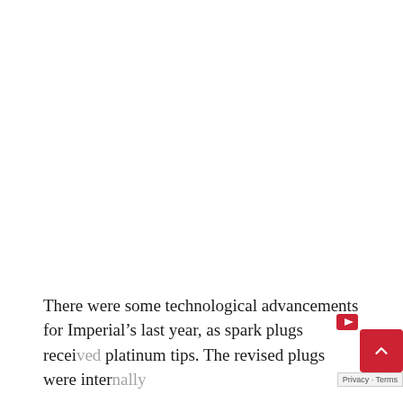There were some technological advancements for Imperial's last year, as spark plugs received platinum tips. The revised plugs were intended to last longer and identify faulty ones more easily.